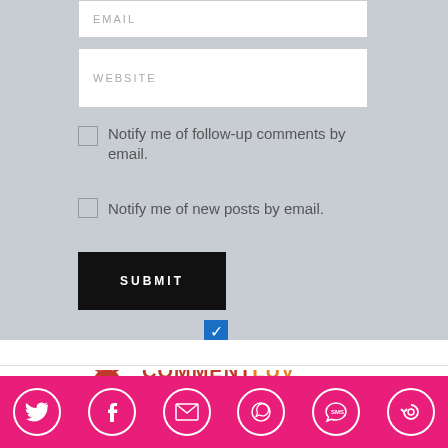EMAIL
WEBSITE
Notify me of follow-up comments by email.
Notify me of new posts by email.
SUBMIT
[Figure (logo): CommentLuv logo with red phoenix bird and text COMMENTLUV in red and orange]
[Figure (infographic): Pink footer bar with social share icons: Twitter, Facebook, Email, WhatsApp, SMS, and another icon]